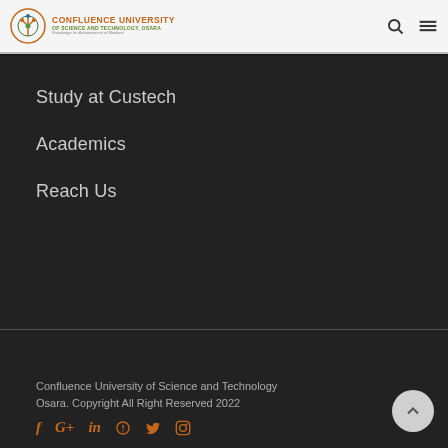Confluence University of Science and Technology, Osara
Study at Custech
Academics
Reach Us
Confluence University of Science and Technology Osara. Copyright All Right Reserved 2022